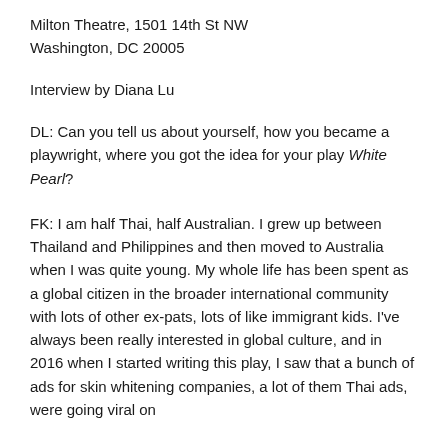Milton Theatre, 1501 14th St NW
Washington, DC 20005
Interview by Diana Lu
DL: Can you tell us about yourself, how you became a playwright, where you got the idea for your play White Pearl?
FK: I am half Thai, half Australian. I grew up between Thailand and Philippines and then moved to Australia when I was quite young. My whole life has been spent as a global citizen in the broader international community with lots of other ex-pats, lots of like immigrant kids. I've always been really interested in global culture, and in 2016 when I started writing this play, I saw that a bunch of ads for skin whitening companies, a lot of them Thai ads, were going viral on